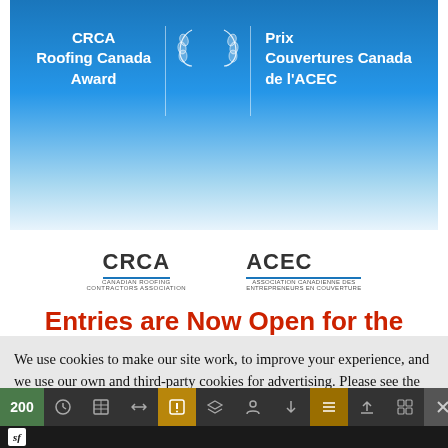[Figure (illustration): CRCA Roofing Canada Award / Prix Couvertures Canada de l'ACEC — blue gradient banner with laurel emblems and two logos (CRCA, ACEC)]
Entries are Now Open for the
We use cookies to make our site work, to improve your experience, and we use our own and third-party cookies for advertising. Please see the Cookies section of our Terms of Use for more information and how to disable them. By accepting or closing the message and continuing to use this site, you agree to our use of cookies.
200  [toolbar icons]  ×  sf